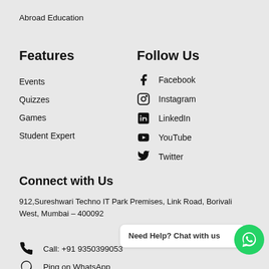Abroad Education
Features
Follow Us
Events
Facebook
Quizzes
Instagram
Games
LinkedIn
Student Expert
YouTube
Twitter
Connect with Us
912,Sureshwari Techno IT Park Premises, Link Road, Borivali West, Mumbai – 400092
Need Help? Chat with us
Call: +91 9350399053
Ping on WhatsApp